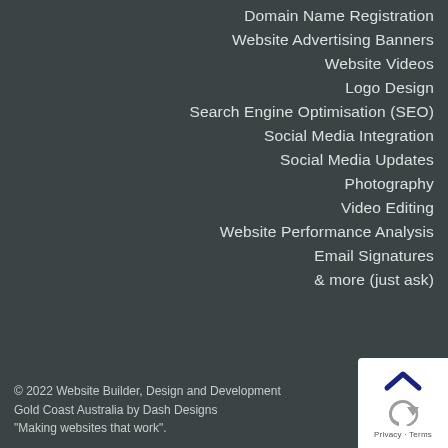Domain Name Registration
Website Advertising Banners
Website Videos
Logo Design
Search Engine Optimisation (SEO)
Social Media Integration
Social Media Updates
Photography
Video Editing
Website Performance Analysis
Email Signatures
& more (just ask)
© 2022 Website Builder, Design and Development Gold Coast Australia by Dash Designs "Making websites that work".